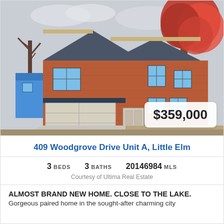[Figure (photo): Two-story brick house with garage, front yard, and red autumn tree to the right. Overcast sky.]
$359,000
409 Woodgrove Drive Unit A, Little Elm
3 BEDS   3 BATHS   20146984 MLS
Courtesy of Ultima Real Estate
ALMOST BRAND NEW HOME. CLOSE TO THE LAKE. Gorgeous paired home in the sought-after charming city